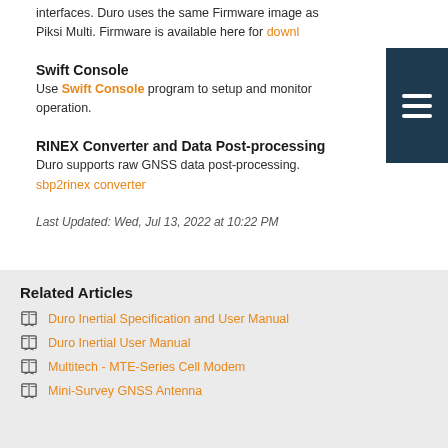interfaces. Duro uses the same Firmware image as Piksi Multi. Firmware is available here for downl…
Swift Console
Use Swift Console program to setup and monitor operation.
RINEX Converter and Data Post-processing
Duro supports raw GNSS data post-processing. sbp2rinex converter
Last Updated: Wed, Jul 13, 2022 at 10:22 PM
Related Articles
Duro Inertial Specification and User Manual
Duro Inertial User Manual
Multitech - MTE-Series Cell Modem
Mini-Survey GNSS Antenna